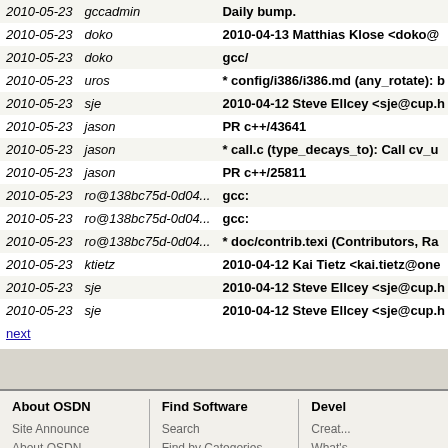| Date | Author | Message |
| --- | --- | --- |
| 2010-05-23 | gccadmin | Daily bump. |
| 2010-05-23 | doko | 2010-04-13 Matthias Klose <doko@... |
| 2010-05-23 | doko | gcc/ |
| 2010-05-23 | uros | * config/i386/i386.md (any_rotate): b... |
| 2010-05-23 | sje | 2010-04-12 Steve Ellcey <sje@cup.h... |
| 2010-05-23 | jason | PR c++/43641 |
| 2010-05-23 | jason | * call.c (type_decays_to): Call cv_u... |
| 2010-05-23 | jason | PR c++/25811 |
| 2010-05-23 | ro@138bc75d-0d04... | gcc: |
| 2010-05-23 | ro@138bc75d-0d04... | gcc: |
| 2010-05-23 | ro@138bc75d-0d04... | * doc/contrib.texi (Contributors, Ra... |
| 2010-05-23 | ktietz | 2010-04-12 Kai Tietz <kai.tietz@one... |
| 2010-05-23 | sje | 2010-04-12 Steve Ellcey <sje@cup.h... |
| 2010-05-23 | sje | 2010-04-12 Steve Ellcey <sje@cup.h... |
next
About OSDN | Find Software | Devel